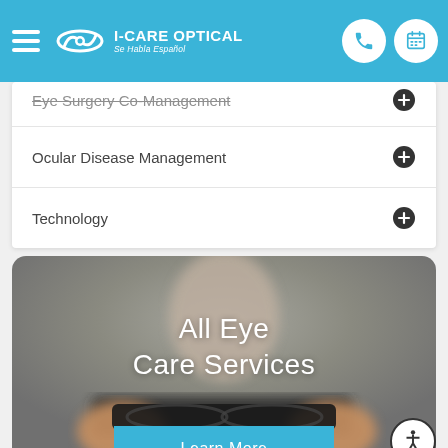I-CARE OPTICAL | Se Habla Español
Eye Surgery Co-Management
Ocular Disease Management
Technology
[Figure (photo): Person holding eyeglasses, blurred background, with overlay text 'All Eye Care Services' and a 'Learn More' button]
All Eye Care Services
Learn More